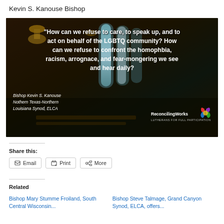Kevin S. Kanouse Bishop
[Figure (photo): Dark church interior with stained glass windows. White text overlay reads: "How can we refuse to care, to speak up, and to act on behalf of the LGBTQ community? How can we refuse to confront the homophbia, racism, arrognace, and fear-mongering we see and hear daily?" Attribution: Bishop Kevin S. Kanouse, Nothern Texas-Northern Louisiana Synod, ELCA. ReconcilingWorks LUTHERANS FOR FULL PARTICIPATION logo with colorful heart.]
Share this:
Email  Print  More
Related
Bishop Mary Stumme Froiland, South Central Wisconsin...
Bishop Steve Talmage, Grand Canyon Synod, ELCA, offers...